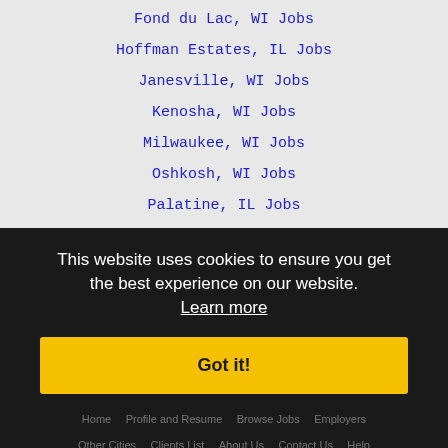Fond du Lac, WI Jobs
Hoffman Estates, IL Jobs
Janesville, WI Jobs
Kenosha, WI Jobs
Milwaukee, WI Jobs
Oshkosh, WI Jobs
Palatine, IL Jobs
Racine, WI Jobs
Rockford, IL Jobs
Sheboygan, WI Jobs
Waukesha, WI Jobs
Wauwatosa, WI Jobs
West Allis, WI Jobs
This website uses cookies to ensure you get the best experience on our website. Learn more
Got it!
Home · Profile and Resume · Browse Jobs · Employers · Other Cities · Clients List · About Us · Contact Us · Help